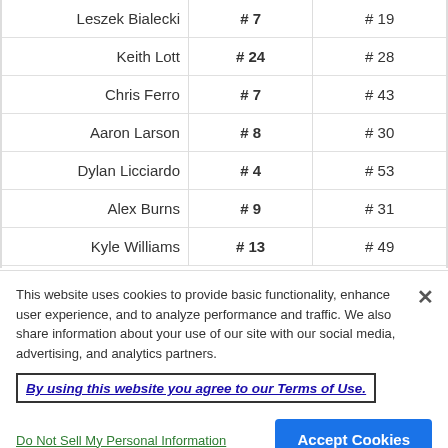| Name | Current Rank | Previous Rank |
| --- | --- | --- |
| Leszek Bialecki | #7 | #19 |
| Keith Lott | #24 | #28 |
| Chris Ferro | #7 | #43 |
| Aaron Larson | #8 | #30 |
| Dylan Licciardo | #4 | #53 |
| Alex Burns | #9 | #31 |
| Kyle Williams | #13 | #49 |
This website uses cookies to provide basic functionality, enhance user experience, and to analyze performance and traffic. We also share information about your use of our site with our social media, advertising, and analytics partners.
By using this website you agree to our Terms of Use.
Do Not Sell My Personal Information
Accept Cookies